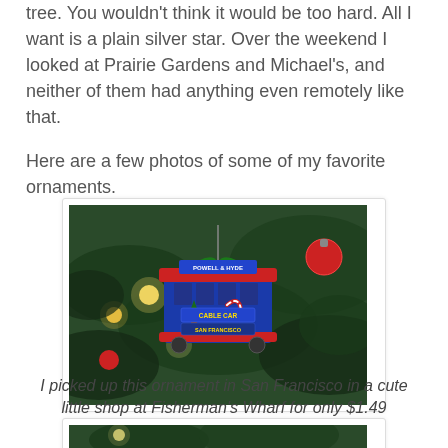tree. You wouldn't think it would be too hard. All I want is a plain silver star. Over the weekend I looked at Prairie Gardens and Michael's, and neither of them had anything even remotely like that.
Here are a few photos of some of my favorite ornaments.
[Figure (photo): A cable car Christmas ornament labeled 'POWELL & HYDE' and 'CABLE CAR SAN FRANCISCO' hanging on a Christmas tree with lights and other ornaments in the background.]
I picked up this ornament in San Francisco in a cute little shop at Fisherman's Wharf for only $1.49
[Figure (photo): Partial view of another Christmas ornament on a tree — bottom of image cropped.]